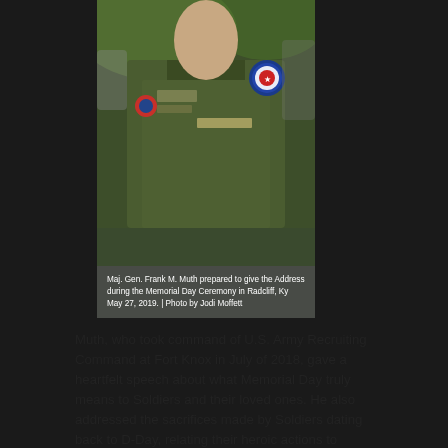[Figure (photo): Close-up photo of Maj. Gen. Frank M. Muth in military dress uniform with medals and patches, preparing to give address at Memorial Day Ceremony in Radcliff, Ky.]
Maj. Gen. Frank M. Muth prepared to give the Address during the Memorial Day Ceremony in Radcliff, Ky May 27, 2019. | Photo by Jodi Moffett
Muth, who took command of U.S. Army Recruiting Command at Fort Knox in July of 2018, gave a heartfelt speech about what Memorial Day truly means to Soldiers and their loved ones. He also addressed the sacrifices made by Soldiers dating back to D-Day, relating their heroic actions to those of today in Iraq.
Shortly after Muth addressed the public, two Human Resource Command (HRC) Honor Guards presented the